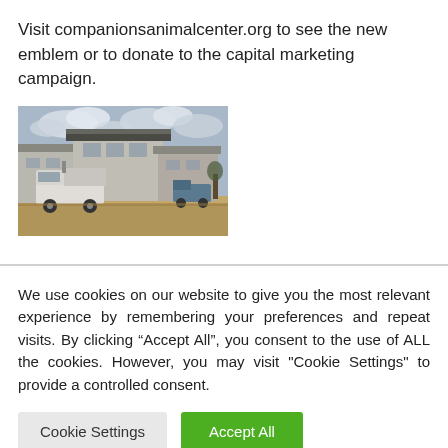Visit companionsanimalcenter.org to see the new emblem or to donate to the capital marketing campaign.
[Figure (photo): Construction photo of a building under construction with a large white dump truck parked in front, cloudy sky overhead, building has modern architecture with overhanging roof elements.]
We use cookies on our website to give you the most relevant experience by remembering your preferences and repeat visits. By clicking “Accept All”, you consent to the use of ALL the cookies. However, you may visit "Cookie Settings" to provide a controlled consent.